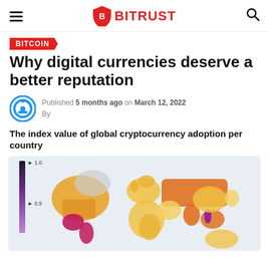BITRUST
BITCOIN
Why digital currencies deserve a better reputation
Published 5 months ago on March 12, 2022
By
The index value of global cryptocurrency adoption per country
[Figure (map): World map showing index value of global cryptocurrency adoption per country, color-coded from light yellow (low) to deep orange/pink (high), with a vertical legend bar on the left showing values 1.0 at top, 0.5 in middle, and continuing down.]